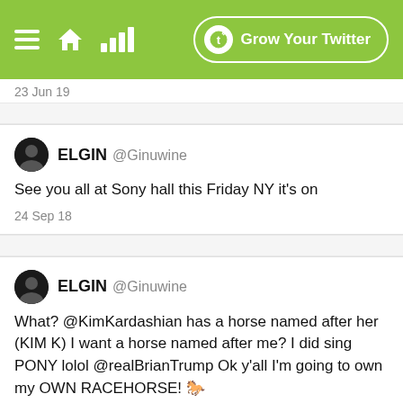[Figure (screenshot): Green navigation bar with hamburger menu, home icon, signal bars icon on the left, and 'Grow Your Twitter' button with circular 't' logo on the right]
23 Jun 19
ELGIN @Ginuwine
See you all at Sony hall this Friday NY it's on
24 Sep 18
ELGIN @Ginuwine
What? @KimKardashian has a horse named after her (KIM K) I want a horse named after me? I did sing PONY lolol @realBrianTrump Ok y'all I'm going to own my OWN RACEHORSE! 🐎 #GoingIntoTheHorseRacingBusinessss RETWEET if u support me & in this@superfectaqueenep